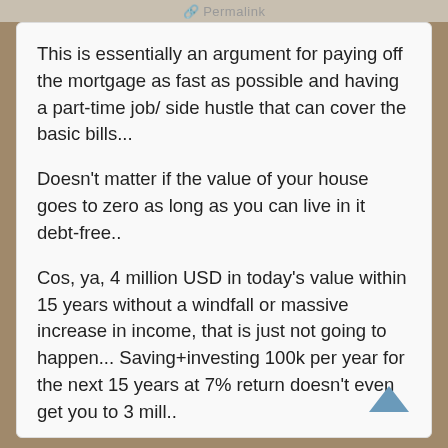Permalink
This is essentially an argument for paying off the mortgage as fast as possible and having a part-time job/ side hustle that can cover the basic bills...
Doesn't matter if the value of your house goes to zero as long as you can live in it debt-free..
Cos, ya, 4 million USD in today's value within 15 years without a windfall or massive increase in income, that is just not going to happen... Saving+investing 100k per year for the next 15 years at 7% return doesn't even get you to 3 mill..
I do have a buffer built into my numbers... I basically calculate based on 70% of my actual number, ....